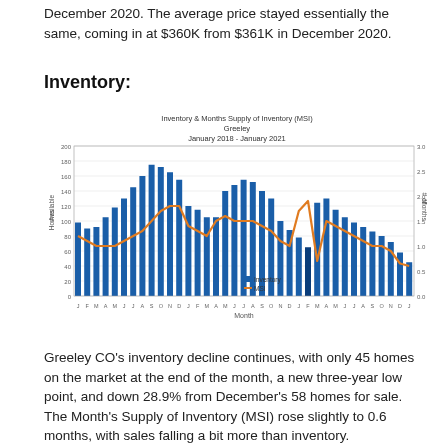December 2020. The average price stayed essentially the same, coming in at $360K from $361K in December 2020.
Inventory:
[Figure (grouped-bar-chart): Bar chart showing monthly inventory (blue bars) and MSI line (orange) for Greeley CO from January 2018 to January 2021]
Greeley CO's inventory decline continues, with only 45 homes on the market at the end of the month, a new three-year low point, and down 28.9% from December's 58 homes for sale. The Month's Supply of Inventory (MSI) rose slightly to 0.6 months, with sales falling a bit more than inventory.